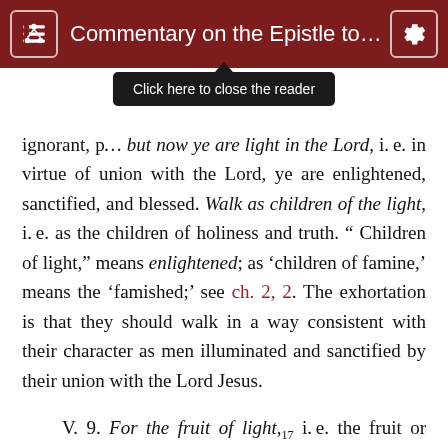Commentary on the Epistle to ...
[Figure (screenshot): Tooltip overlay reading 'Click here to close the reader' appearing below the dark red header bar]
ignorant, p[art] now ye are light in the Lord, i. e. in virtue of union with the Lord, ye are enlightened, sanctified, and blessed. Walk as children of the light, i. e. as the children of holiness and truth. " Children of light," means enlightened; as 'children of famine,' means the 'famished;' see ch. 2, 2. The exhortation is that they should walk in a way consistent with their character as men illuminated and sanctified by their union with the Lord Jesus.
V. 9. For the fruit of light,17 i. e. the fruit or effect of divine illumination is in all, i. e. consists in